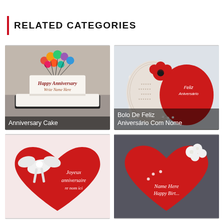RELATED CATEGORIES
[Figure (photo): White square anniversary cake with colorful balloon decorations on top. Text reads 'Happy Anniversary' and 'Write Name Here' on the cake.]
Anniversary Cake
[Figure (photo): Red heart-shaped anniversary cake with a red flower decoration and white lace frosting. Text reads 'Feliz Aniversário' on the cake.]
Bolo De Feliz Aniversário Com Nome
[Figure (photo): Red heart-shaped cake with a white bow decoration. Text reads 'Joyeux Anniversaire re nom ici' in white cursive on the cake.]
[Figure (photo): Red heart-shaped birthday cake with white flower decorations. Text reads 'Name Here Happy Birt...' in white cursive on the cake.]